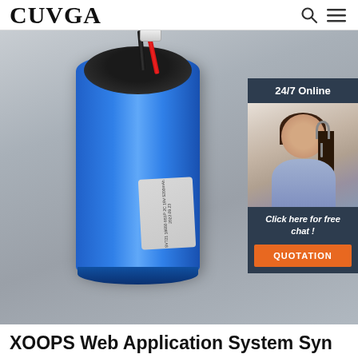CUVGA
[Figure (photo): Photo of a blue lithium battery with red and black wires coming out the top. A chat widget overlay on the right shows '24/7 Online', a woman wearing a headset, 'Click here for free chat!', and a QUOTATION button.]
XOOPS Web Application System Syn